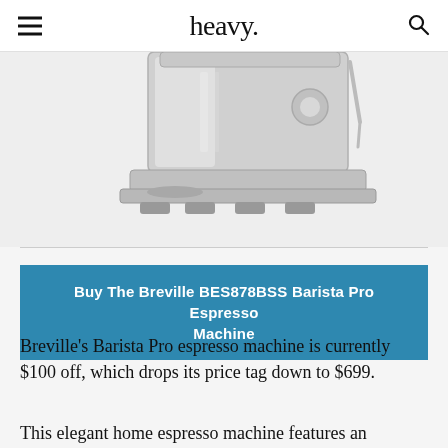heavy.
[Figure (photo): Breville BES878BSS Barista Pro Espresso Machine — stainless steel espresso machine, partial view showing lower body and drip tray]
Buy The Breville BES878BSS Barista Pro Espresso Machine
Breville's Barista Pro espresso machine is currently $100 off, which drops its price tag down to $699.
This elegant home espresso machine features an